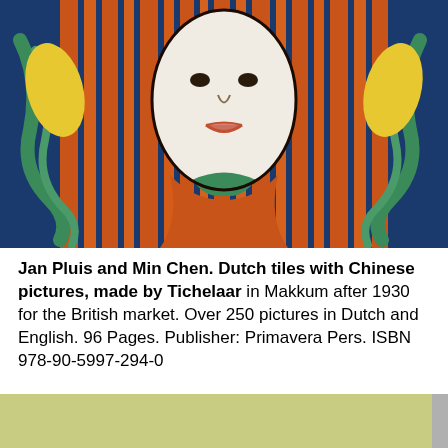[Figure (illustration): Decorative tile artwork showing a stylized face/figure with orange stripes, green swirls, yellow accents, and blue background. Art Nouveau style Dutch tile illustration.]
Jan Pluis and Min Chen. Dutch tiles with Chinese pictures, made by Tichelaar in Makkum after 1930 for the British market. Over 250 pictures in Dutch and English. 96 Pages. Publisher: Primavera Pers. ISBN 978-90-5997-294-0
[Figure (illustration): Bottom banner with olive/yellow-green background showing two red Chinese decorative symbols on left and right sides, with text 'Nederlandse tegels uit de 20ste eeuw' and partial second line.]